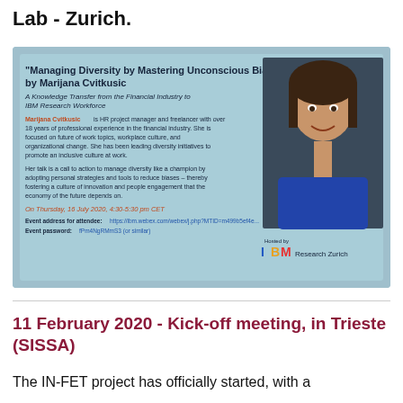Lab - Zurich.
[Figure (infographic): Event flyer for 'Managing Diversity by Mastering Unconscious Bias' talk by Marijana Cvitkusic. Light blue/teal background with speaker photo on the right. Contains speaker bio, event date (Thursday, 16 July 2020, 4:30-5:30 pm CET), event access link, password info. Hosted by IBM Research Zurich logo at bottom right.]
11 February 2020 - Kick-off meeting, in Trieste (SISSA)
The IN-FET project has officially started, with a